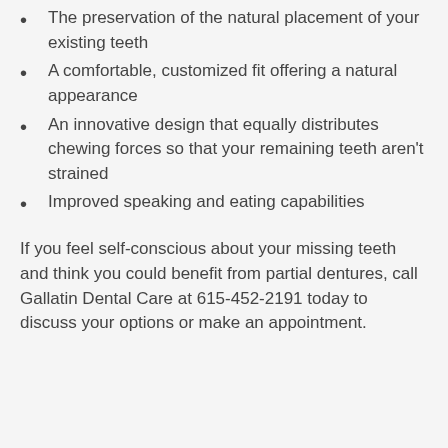The preservation of the natural placement of your existing teeth
A comfortable, customized fit offering a natural appearance
An innovative design that equally distributes chewing forces so that your remaining teeth aren't strained
Improved speaking and eating capabilities
If you feel self-conscious about your missing teeth and think you could benefit from partial dentures, call Gallatin Dental Care at 615-452-2191 today to discuss your options or make an appointment.